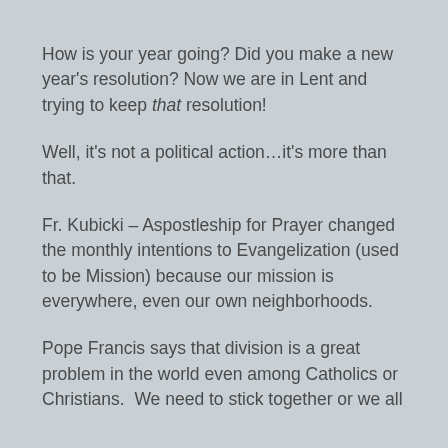How is your year going? Did you make a new year's resolution? Now we are in Lent and trying to keep that resolution!
Well, it's not a political action…it's more than that.
Fr. Kubicki – Aspostleship for Prayer changed the monthly intentions to Evangelization (used to be Mission) because our mission is everywhere, even our own neighborhoods.
Pope Francis says that division is a great problem in the world even among Catholics or Christians.  We need to stick together or we all